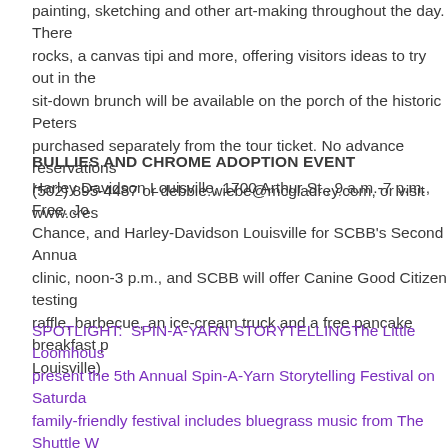painting, sketching and other art-making throughout the day. There rocks, a canvas tipi and more, offering visitors ideas to try out in the sit-down brunch will be available on the porch of the historic Peters purchased separately from the tour ticket. No advance reservations (502) 895-4487 or debbie.wiebe@mcgladrey.com, or visit www.cres
BULLIES AND CHROME ADOPTION EVENT
Harley Davidson Louisville, 1700 Arthur St., 9 a.m.-7 p.m., Free. Jo Chance, and Harley-Davidson Louisville for SCBB's Second Annua clinic, noon-3 p.m., and SCBB will offer Canine Good Citizen testing raffle, barbecue, an ice-cream truck and a free pancake breakfast p Louisville)
SPOTLIGHT:  SPIN-A-YARN STORYTELLINGThe Little Loomhous present the 5th Annual Spin-A-Yarn Storytelling Festival on Saturda family-friendly festival includes bluegrass music from The Shuttle W spinning demonstrations, a blacksmith, and historic cabin tours. Th